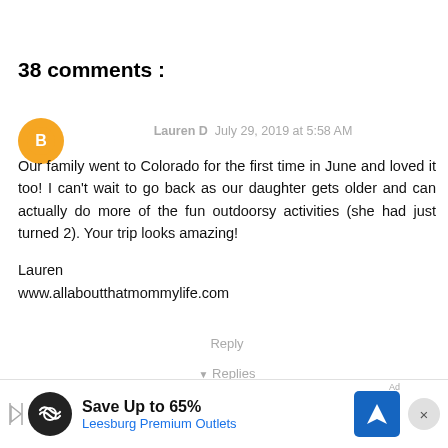38 comments :
Lauren D  July 29, 2019 at 5:58 AM
Our family went to Colorado for the first time in June and loved it too! I can't wait to go back as our daughter gets older and can actually do more of the fun outdoorsy activities (she had just turned 2). Your trip looks amazing!

Lauren
www.allaboutthatmommylife.com
Reply
▼ Replies
[Figure (other): Advertisement banner: Save Up to 65% Leesburg Premium Outlets with logo and navigation icon]